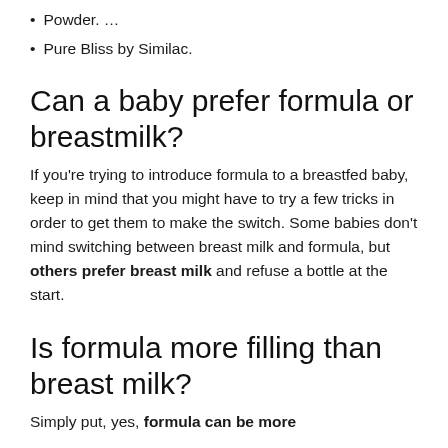Powder. …
Pure Bliss by Similac.
Can a baby prefer formula or breastmilk?
If you're trying to introduce formula to a breastfed baby, keep in mind that you might have to try a few tricks in order to get them to make the switch. Some babies don't mind switching between breast milk and formula, but others prefer breast milk and refuse a bottle at the start.
Is formula more filling than breast milk?
Simply put, yes, formula can be more